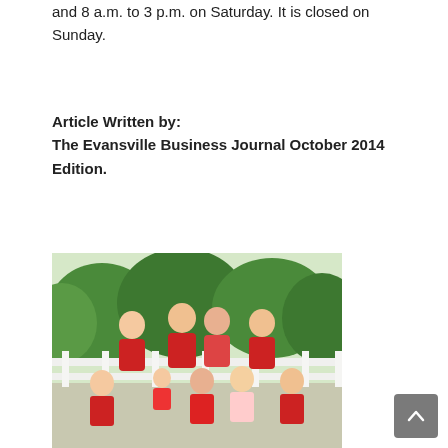and 8 a.m. to 3 p.m. on Saturday. It is closed on Sunday.
Article Written by:
The Evansville Business Journal October 2014 Edition.
[Figure (photo): A group family photo of multiple people wearing red shirts, standing in front of a white fence with green trees in the background.]